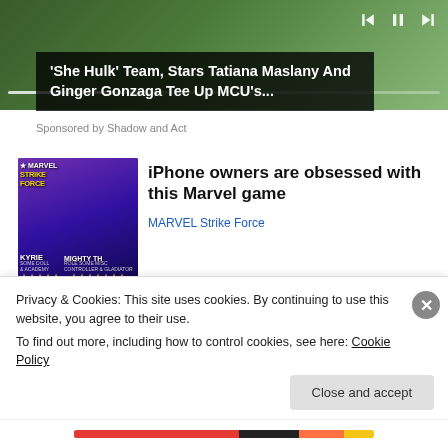[Figure (screenshot): Video player showing She Hulk content with green background, playback controls (skip back, pause, skip forward), and progress bar]
'She Hulk' Team, Stars Tatiana Maslany And Ginger Gonzaga Tee Up MCU's...
Sponsored by Shadow and Act
[Figure (screenshot): Marvel Strike Force game advertisement thumbnail showing characters KYRIE and MIGHTY TH with star ratings]
iPhone owners are obsessed with this Marvel game
MARVEL Strike Force
Unsold Smart Beds Have Never...
Privacy & Cookies: This site uses cookies. By continuing to use this website, you agree to their use.
To find out more, including how to control cookies, see here: Cookie Policy
Close and accept